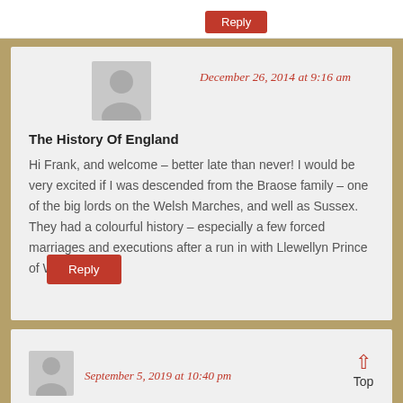Reply
December 26, 2014 at 9:16 am
The History Of England
Hi Frank, and welcome – better late than never! I would be very excited if I was descended from the Braose family – one of the big lords on the Welsh Marches, and well as Sussex. They had a colourful history – especially a few forced marriages and executions after a run in with Llewellyn Prince of Wales...
Reply
September 5, 2019 at 10:40 pm
Top